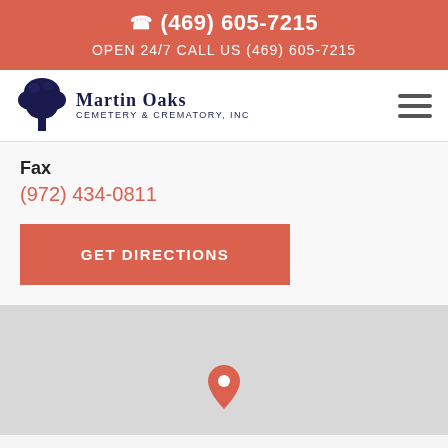(469) 605-7215
OPEN 24/7 CALL US (469) 605-7215
[Figure (logo): Martin Oaks Cemetery & Crematory, Inc. logo with tree illustration]
Fax
(972) 434-0811
GET DIRECTIONS
[Figure (map): Gray map area with a location pin marker]